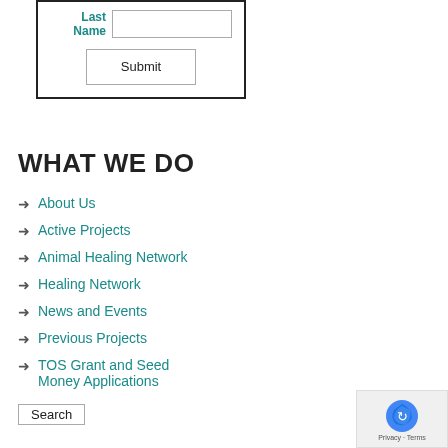[Figure (other): A web form with Last Name field and text input, plus a Submit button, enclosed in a bordered box]
WHAT WE DO
About Us
Active Projects
Animal Healing Network
Healing Network
News and Events
Previous Projects
TOS Grant and Seed Money Applications
[Figure (other): Search input box and Search button]
[Figure (other): reCAPTCHA widget with Privacy and Terms text]